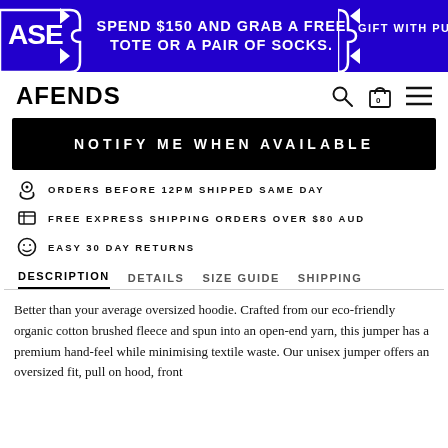SPEND $150 AND GRAB A FREE TOTE OR A PAIR OF SOCKS. GIFT WITH PURCHASE
AFENDS
NOTIFY ME WHEN AVAILABLE
ORDERS BEFORE 12PM SHIPPED SAME DAY
FREE EXPRESS SHIPPING ORDERS OVER $80 AUD
EASY 30 DAY RETURNS
DESCRIPTION | DETAILS | SIZE GUIDE | SHIPPING
Better than your average oversized hoodie. Crafted from our eco-friendly organic cotton brushed fleece and spun into an open-end yarn, this jumper has a premium hand-feel while minimising textile waste. Our unisex jumper offers an oversized fit, pull on hood, front